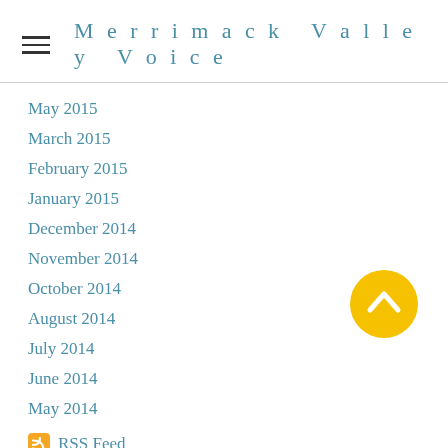Merrimack Valley Voice
May 2015
March 2015
February 2015
January 2015
December 2014
November 2014
October 2014
August 2014
July 2014
June 2014
May 2014
RSS Feed
[Figure (illustration): Yellow circular scroll-to-top button with upward chevron arrow]